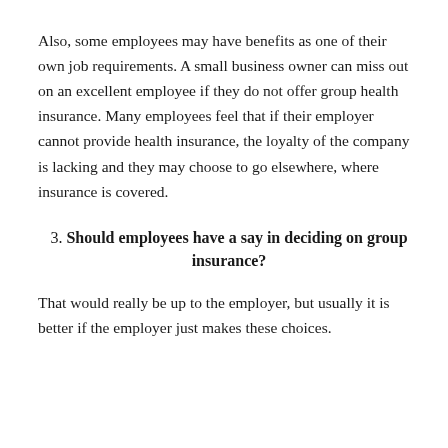Also, some employees may have benefits as one of their own job requirements. A small business owner can miss out on an excellent employee if they do not offer group health insurance. Many employees feel that if their employer cannot provide health insurance, the loyalty of the company is lacking and they may choose to go elsewhere, where insurance is covered.
3. Should employees have a say in deciding on group insurance?
That would really be up to the employer, but usually it is better if the employer just makes these choices.